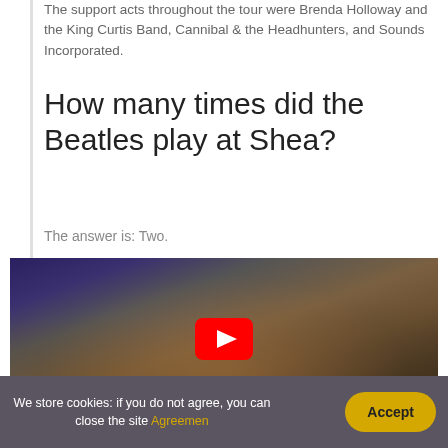The support acts throughout the tour were Brenda Holloway and the King Curtis Band, Cannibal & the Headhunters, and Sounds Incorporated.
How many times did the Beatles play at Shea?
The answer is: Two.
[Figure (screenshot): YouTube video thumbnail showing a crowd scene at Shea Stadium with a red YouTube play button overlay in the center.]
We store cookies: if you do not agree, you can close the site Agreement